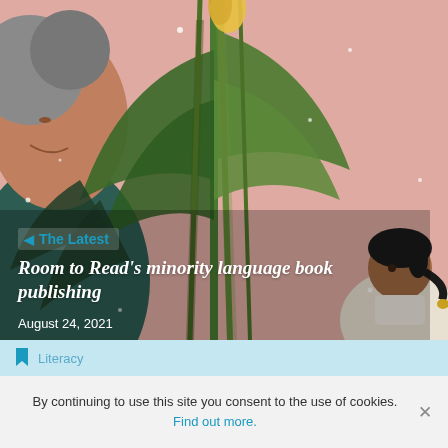[Figure (illustration): Illustrated scene with a pink background showing an adult woman on the left side, a large green plant in the center, and a child figure on the right. Decorative white dot sparkles scattered throughout. The illustration is in a soft, painted style.]
◄ The Latest
Room to Read's minority language book publishing
August 24, 2021
Literacy
By continuing to use this site you consent to the use of cookies. Find out more.